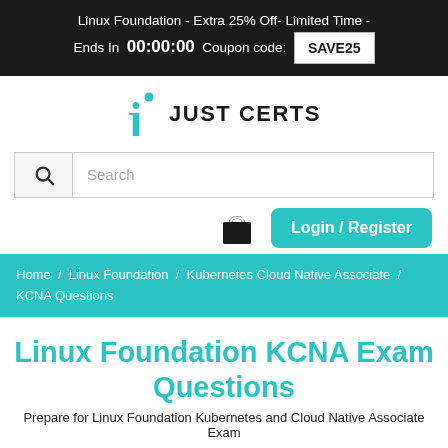Linux Foundation - Extra 25% Off- Limited Time - Ends In 00:00:00 Coupon code: SAVE25
[Figure (logo): JustCerts logo with teal J letter and dot, followed by bold text JUST CERTS]
[Figure (screenshot): Search bar with magnifying glass icon and placeholder text 'Search']
[Figure (screenshot): Shopping cart icon and teal Login/Register button]
Home / Linux Foundation / Kubernetes Cloud Native Associate / KCNA Questions
Linux Foundation KCNA Exam Questions
Prepare for Linux Foundation Kubernetes and Cloud Native Associate Exam